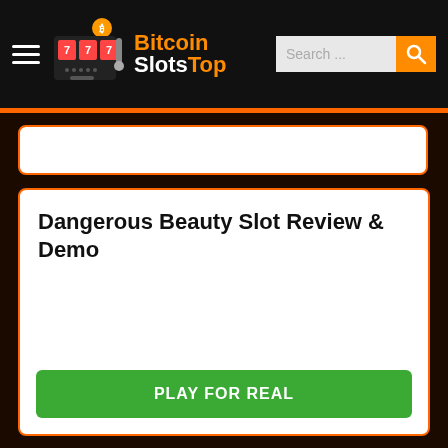Bitcoin SlotsTop
Dangerous Beauty Slot Review & Demo
PLAY FOR REAL